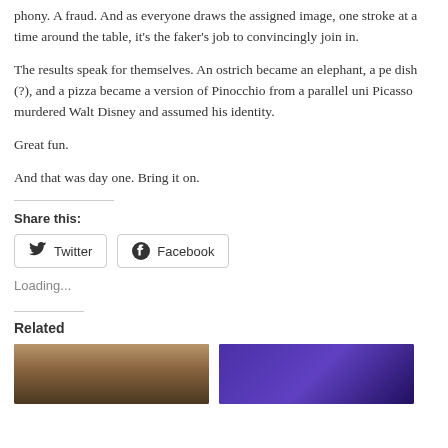phony. A fraud. And as everyone draws the assigned image, one stroke at a time around the table, it's the faker's job to convincingly join in.
The results speak for themselves. An ostrich became an elephant, a pe dish (?), and a pizza became a version of Pinocchio from a parallel uni Picasso murdered Walt Disney and assumed his identity.
Great fun.
And that was day one. Bring it on.
Share this:
[Figure (other): Twitter and Facebook share buttons]
Loading...
Related
[Figure (photo): Two related article thumbnail images side by side]